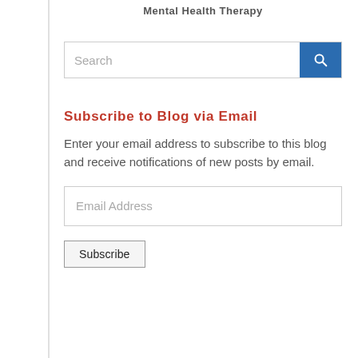Mental Health Therapy
Search
Subscribe to Blog via Email
Enter your email address to subscribe to this blog and receive notifications of new posts by email.
Email Address
Subscribe